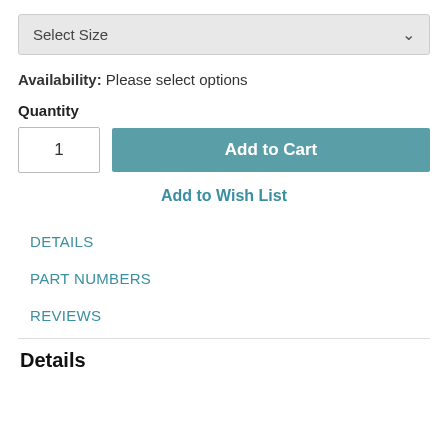Select Size
Availability: Please select options
Quantity
1
Add to Cart
Add to Wish List
DETAILS
PART NUMBERS
REVIEWS
Details